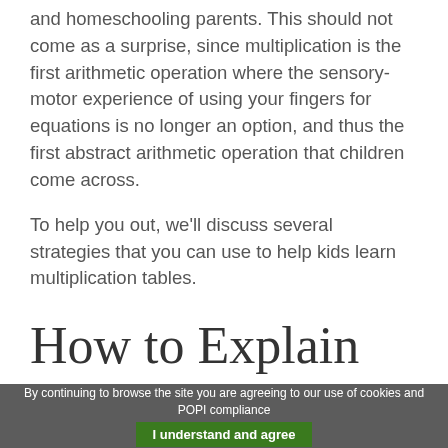and homeschooling parents. This should not come as a surprise, since multiplication is the first arithmetic operation where the sensory-motor experience of using your fingers for equations is no longer an option, and thus the first abstract arithmetic operation that children come across.
To help you out, we'll discuss several strategies that you can use to help kids learn multiplication tables.
How to Explain
By continuing to browse the site you are agreeing to our use of cookies and POPI compliance   I understand and agree